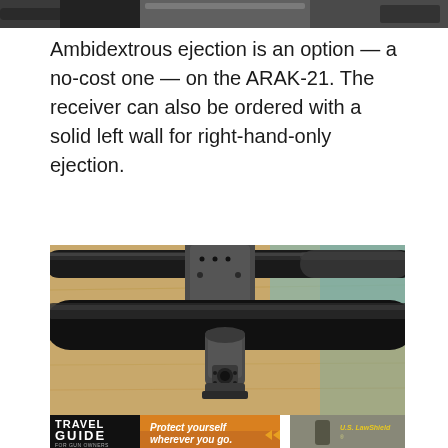[Figure (photo): Top portion of a firearm photo cropped at the top of the page]
Ambidextrous ejection is an option — a no-cost one — on the ARAK-21. The receiver can also be ordered with a solid left wall for right-hand-only ejection.
[Figure (photo): Close-up photo of ARAK-21 firearm barrels and gas block mechanism on a wooden surface]
[Figure (photo): Travel Guide for Gun Owners advertisement banner with U.S. LawShield — Protect yourself wherever you go.]